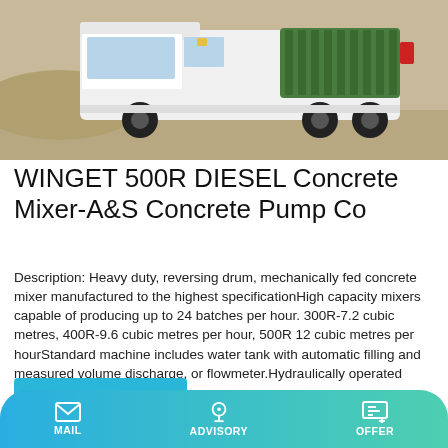[Figure (photo): WINGET 500R Diesel Concrete Mixer truck viewed from rear-side, white and green colored, on a sandy/gravel terrain background.]
WINGET 500R DIESEL Concrete Mixer-A&S Concrete Pump Co
Description: Heavy duty, reversing drum, mechanically fed concrete mixer manufactured to the highest specificationHigh capacity mixers capable of producing up to 24 batches per hour. 300R-7.2 cubic metres, 400R-9.6 cubic metres per hour, 500R 12 cubic metres per hourStandard machine includes water tank with automatic filling and measured volume discharge, or flowmeter.Hydraulically operated
Learn More
PUTZMEISTER diesel concrete pump trucks from Frankfurt am
MAIL   ADVISORY   OFFER